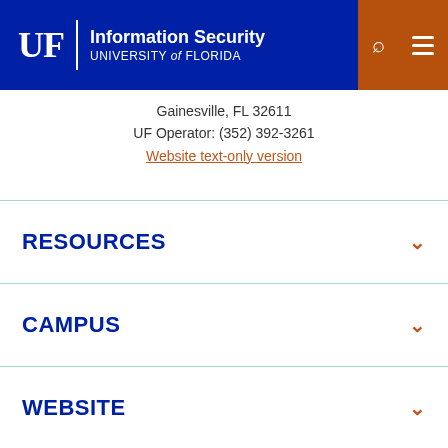UF | Information Security UNIVERSITY of FLORIDA
Gainesville, FL 32611
UF Operator: (352) 392-3261
Website text-only version
RESOURCES
CAMPUS
WEBSITE